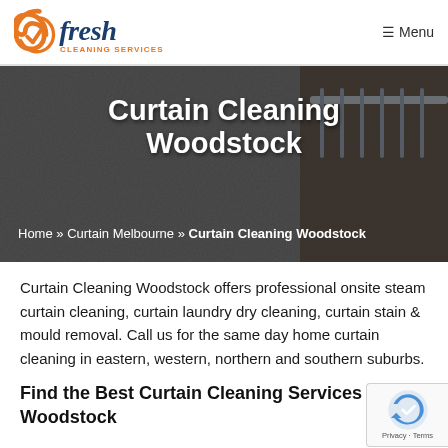Fresh Cleaning Services — Menu
[Figure (photo): Hero background showing curtain cleaning equipment against a concrete wall with metal rods, overlaid with dark tint]
Curtain Cleaning Woodstock
Home » Curtain Melbourne » Curtain Cleaning Woodstock
Curtain Cleaning Woodstock offers professional onsite steam curtain cleaning, curtain laundry dry cleaning, curtain stain & mould removal. Call us for the same day home curtain cleaning in eastern, western, northern and southern suburbs.
Find the Best Curtain Cleaning Services Woodstock